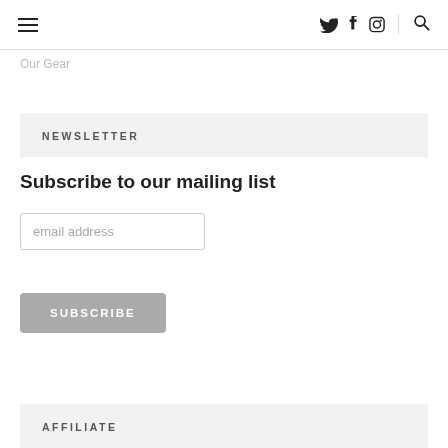≡  🐦 f ◻  🔍
Our Gear
NEWSLETTER
Subscribe to our mailing list
email address
SUBSCRIBE
AFFILIATE